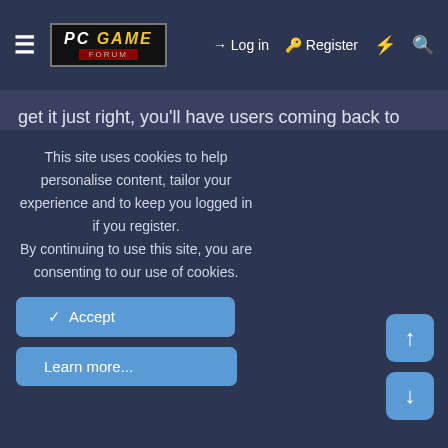PC GAME FORUM — Log in | Register
get it just right, you'll have users coming back to play every day! With that in mind, The Google Play Store has some amazing apps for gaming, whether you're into strategy games, card games, or just want to relax after work with a game of solitaire.
If you love playing games on your mobile device, check
This site uses cookies to help personalise content, tailor your experience and to keep you logged in if you register.
By continuing to use this site, you are consenting to our use of cookies.
Accept
Learn more...